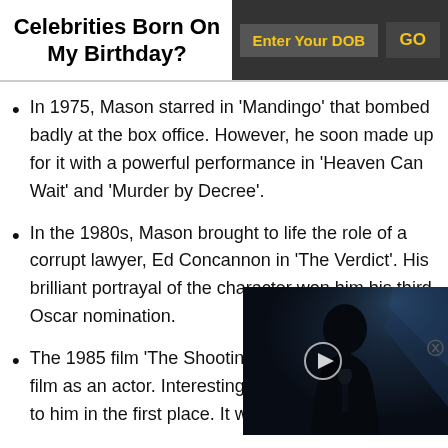Celebrities Born On My Birthday?
In 1975, Mason starred in ‘Mandingo’ that bombed badly at the box office. However, he soon made up for it with a powerful performance in ‘Heaven Can Wait’ and ‘Murder by Decree’.
In the 1980s, Mason brought to life the role of a corrupt lawyer, Ed Concannon in ‘The Verdict’. His brilliant portrayal of the character won him his third Oscar nomination.
The 1985 film ‘The Shootin… film as an actor. Interesting… to him in the first place. It w…
[Figure (photo): Video overlay showing a bald man in dark clothing holding a microphone, with a play button icon in the center, on a dark blue-toned background]